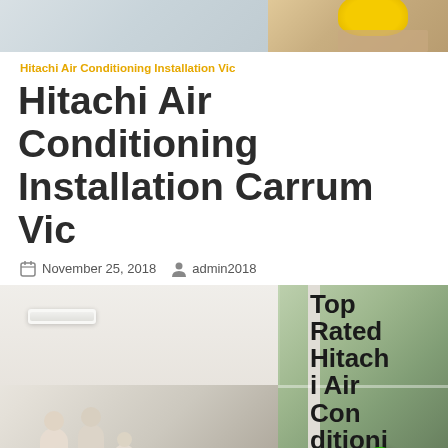[Figure (photo): Top banner photo showing a construction worker or person with yellow hard hat, partially visible at top of page]
Hitachi Air Conditioning Installation Vic
Hitachi Air Conditioning Installation Carrum Vic
November 25, 2018   admin2018
[Figure (photo): A family (two adults and a child) sitting on a bed in a modern white bedroom with a wall-mounted Hitachi air conditioning unit and large windows. Overlaid text reads: Top Rated Hitachi Air Conditioning and a Call Now button with green phone icon.]